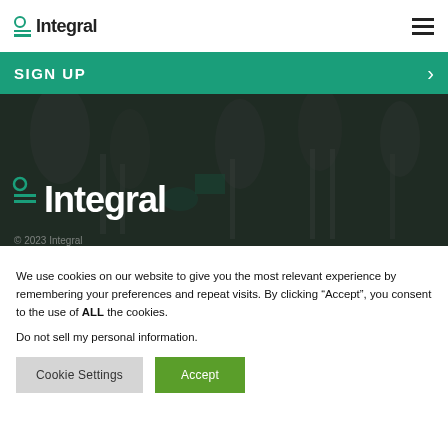Integral
SIGN UP
[Figure (screenshot): Hero image with dark overlay showing people with chairs in a studio setting, with the Integral logo in large white text overlaid. Partial copyright line visible at bottom.]
We use cookies on our website to give you the most relevant experience by remembering your preferences and repeat visits. By clicking “Accept”, you consent to the use of ALL the cookies.
Do not sell my personal information.
Cookie Settings  Accept